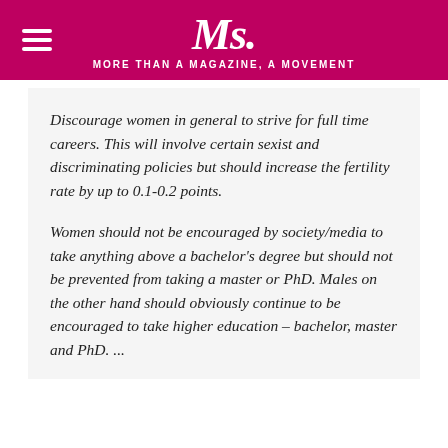Ms. MORE THAN A MAGAZINE, A MOVEMENT
Discourage women in general to strive for full time careers. This will involve certain sexist and discriminating policies but should increase the fertility rate by up to 0.1-0.2 points.
Women should not be encouraged by society/media to take anything above a bachelor's degree but should not be prevented from taking a master or PhD. Males on the other hand should obviously continue to be encouraged to take higher education – bachelor, master and PhD. ...